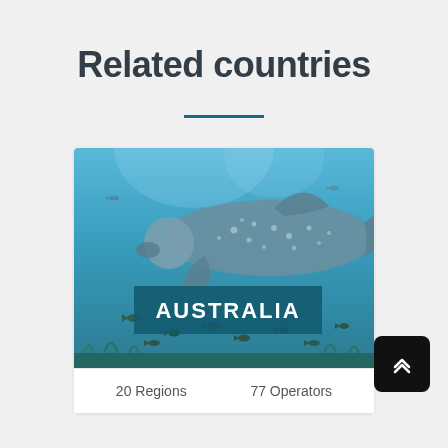Related countries
[Figure (illustration): Underwater ocean scene with a whale shark and small fish, with a teal overlay banner reading AUSTRALIA]
20 Regions
77 Operators